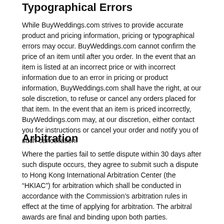Typographical Errors
While BuyWeddings.com strives to provide accurate product and pricing information, pricing or typographical errors may occur. BuyWeddings.com cannot confirm the price of an item until after you order. In the event that an item is listed at an incorrect price or with incorrect information due to an error in pricing or product information, BuyWeddings.com shall have the right, at our sole discretion, to refuse or cancel any orders placed for that item. In the event that an item is priced incorrectly, BuyWeddings.com may, at our discretion, either contact you for instructions or cancel your order and notify you of such cancellation.
Arbitration
Where the parties fail to settle dispute within 30 days after such dispute occurs, they agree to submit such a dispute to Hong Kong International Arbitration Center (the “HKIAC”) for arbitration which shall be conducted in accordance with the Commission’s arbitration rules in effect at the time of applying for arbitration. The arbitral awards are final and binding upon both parties.